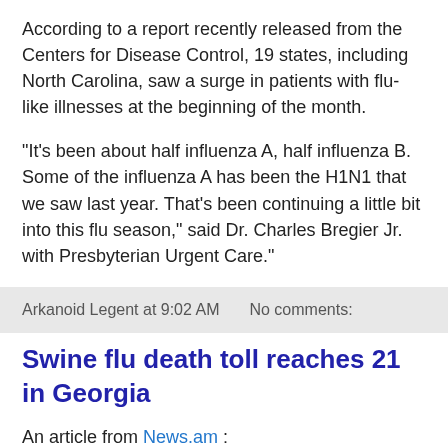According to a report recently released from the Centers for Disease Control, 19 states, including North Carolina, saw a surge in patients with flu-like illnesses at the beginning of the month.
"It's been about half influenza A, half influenza B. Some of the influenza A has been the H1N1 that we saw last year. That's been continuing a little bit into this flu season," said Dr. Charles Bregier Jr. with Presbyterian Urgent Care."
Arkanoid Legent at 9:02 AM   No comments:
Swine flu death toll reaches 21 in Georgia
An article from News.am :
" The number of swine flu victims in Georgia reached 21. A 49-year-old woman died of H1N1 virus in Kutaisi, Georgia ...